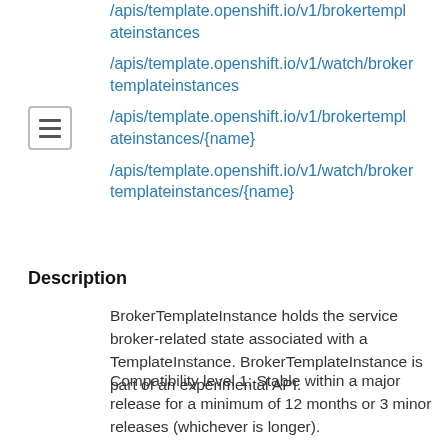/apis/template.openshift.io/v1/brokertemplateinstances
/apis/template.openshift.io/v1/watch/brokertemplateinstances
/apis/template.openshift.io/v1/brokertemplateinstances/{name}
/apis/template.openshift.io/v1/watch/brokertemplateinstances/{name}
Description
BrokerTemplateInstance holds the service broker-related state associated with a TemplateInstance. BrokerTemplateInstance is part of an experimental API.
Compatibility level 1: Stable within a major release for a minimum of 12 months or 3 minor releases (whichever is longer).